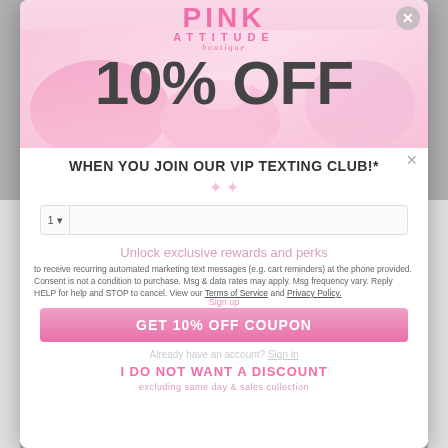[Figure (screenshot): Pink Attitude Boutique website screenshot showing a promotional popup modal overlay on a shopping website. The popup has a pink header with the Pink Attitude Boutique logo, a background showing a child in pink accessories, and displays a 10% OFF discount offer for joining the VIP Texting Club, with a sign-up form and button.]
PINK ATTITUDE boutique
10% OFF
WHEN YOU JOIN OUR VIP TEXTING CLUB!*
Unlock exclusive rewards and perks
to receive recurring automated marketing text messages (e.g. cart reminders) at the phone provided. Consent is not a condition to purchase. Msg & data rates may apply. Msg frequency vary. Reply HELP for help and STOP to cancel. View our Terms of Service and Privacy Policy.
Sign up
GET 10% OFF COUPON
Already have an account? Sign in
I DO NOT WANT A DISCOUNT
excluding same day & sales collection